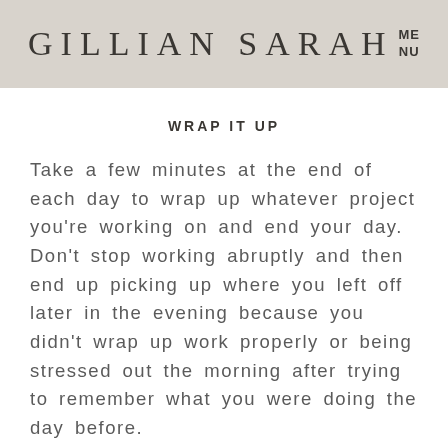GILLIAN SARAH  MENU
WRAP IT UP
Take a few minutes at the end of each day to wrap up whatever project you're working on and end your day. Don't stop working abruptly and then end up picking up where you left off later in the evening because you didn't wrap up work properly or being stressed out the morning after trying to remember what you were doing the day before.